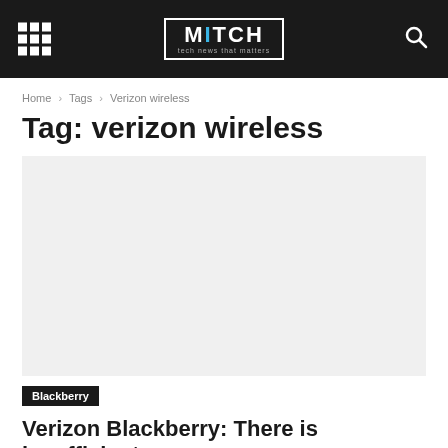MITCH tech news that matters
Home › Tags › Verizon wireless
Tag: verizon wireless
[Figure (photo): Large article image placeholder area]
Blackberry
Verizon Blackberry: There is insufficient